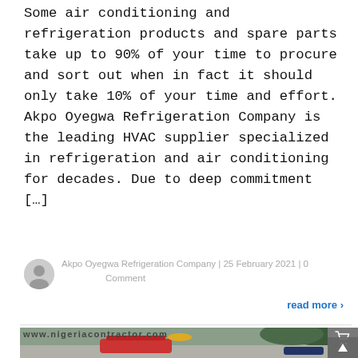Some air conditioning and refrigeration products and spare parts take up to 90% of your time to procure and sort out when in fact it should only take 10% of your time and effort. Akpo Oyegwa Refrigeration Company is the leading HVAC supplier specialized in refrigeration and air conditioning for decades. Due to deep commitment […]
Akpo Oyegwa Refrigeration Company | 25 February 2021 | 0 Comment
read more ›
[Figure (photo): Photo of HVAC/refrigeration tools including a red tool case on a surface, partially visible, with green foliage in background. Watermark text 'www.nigeriacontractor.com' visible at top of image section.]